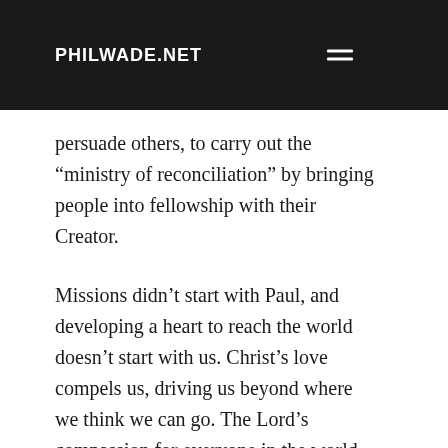PHILWADE.NET
persuade others, to carry out the “ministry of reconciliation” by bringing people into fellowship with their Creator.
Missions didn’t start with Paul, and developing a heart to reach the world doesn’t start with us. Christ’s love compels us, driving us beyond where we think we can go. The Lord’s compassion for everyone in the world drove Him to send His Son to die for us. God not only “reconciled us to Himself through Christ,” but also “committed to us the message of reconciliation.” The overarching story